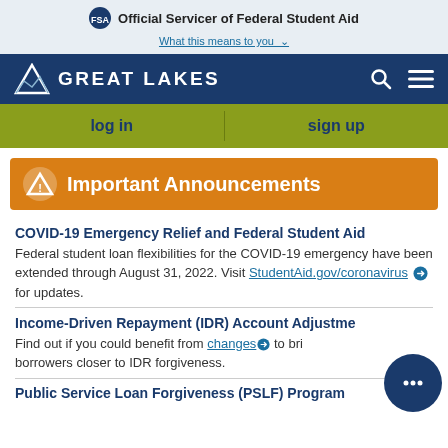Official Servicer of Federal Student Aid
What this means to you
[Figure (logo): Great Lakes logo with mountain icon on dark blue navigation bar]
[Figure (infographic): log in / sign up navigation bar in olive/yellow-green]
Important Announcements
COVID-19 Emergency Relief and Federal Student Aid
Federal student loan flexibilities for the COVID-19 emergency have been extended through August 31, 2022. Visit StudentAid.gov/coronavirus for updates.
Income-Driven Repayment (IDR) Account Adjustment
Find out if you could benefit from changes to bring borrowers closer to IDR forgiveness.
Public Service Loan Forgiveness (PSLF) Program